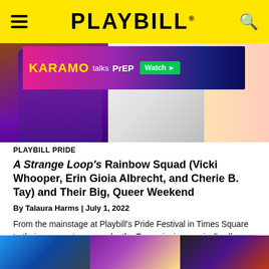PLAYBILL
[Figure (photo): Advertisement banner featuring a person and KARAMO talks PrEP Watch button over a colorful background, with a collage of people images below]
PLAYBILL PRIDE
A Strange Loop's Rainbow Squad (Vicki Whooper, Erin Gioia Albrecht, and Cherie B. Tay) and Their Big, Queer Weekend
By Talaura Harms | July 1, 2022
From the mainstage at Playbill's Pride Festival in Times Square to their own onstage parade, the Tony-winning musical's all-queer stage management team came out from behind-the-scenes.
[Figure (photo): Three portrait photos of Vicki Whooper, Erin Gioia Albrecht, and Cherie B. Tay side by side]